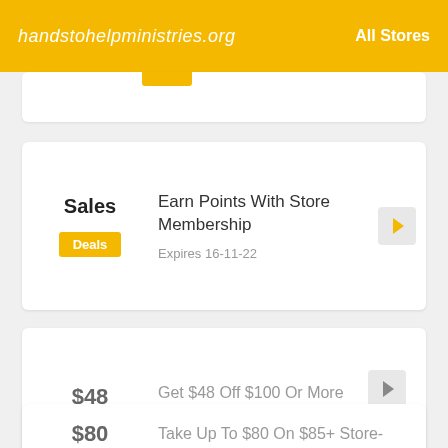handstohelpministries.org | All Stores
Sales | Earn Points With Store Membership | Expires 16-11-22 | Deals
$48 | Get $48 Off $100 Or More Store-wide | Expired 17-8-22 | Codes
$80 | Take Up To $80 On $85+ Store-